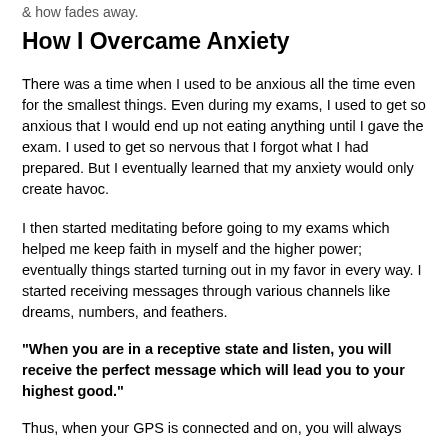& how fades away.
How I Overcame Anxiety
There was a time when I used to be anxious all the time even for the smallest things. Even during my exams, I used to get so anxious that I would end up not eating anything until I gave the exam. I used to get so nervous that I forgot what I had prepared. But I eventually learned that my anxiety would only create havoc.
I then started meditating before going to my exams which helped me keep faith in myself and the higher power; eventually things started turning out in my favor in every way. I started receiving messages through various channels like dreams, numbers, and feathers.
"When you are in a receptive state and listen, you will receive the perfect message which will lead you to your highest good."
Thus, when your GPS is connected and on, you will always